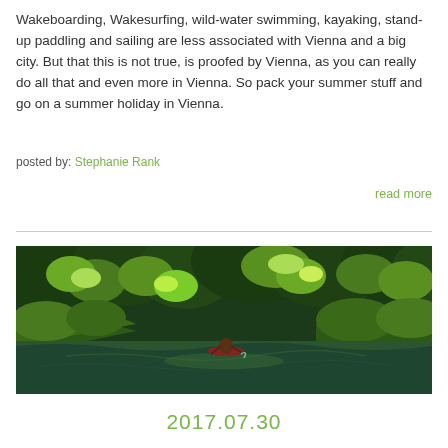Wakeboarding, Wakesurfing, wild-water swimming, kayaking, stand-up paddling and sailing are less associated with Vienna and a big city. But that this is not true, is proofed by Vienna, as you can really do all that and even more in Vienna. So pack your summer stuff and go on a summer holiday in Vienna.
posted by: Stephanie Rank
read more
[Figure (photo): A person kayaking on a calm river surrounded by lush green trees and vegetation, viewed from behind.]
2017.07.30